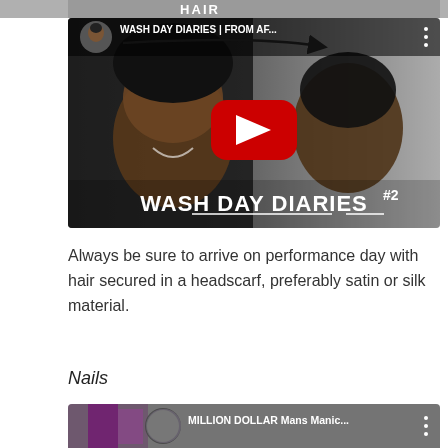[Figure (screenshot): Partial top strip of a YouTube video thumbnail, cropped, showing text 'HAIR' in white bold letters on dark background]
[Figure (screenshot): YouTube video thumbnail for 'WASH DAY DIARIES | FROM AF...' showing two smiling Black women with natural hair, a circular profile photo in top left, YouTube play button in center, and bold text 'WASH DAY DIARIES #2' at bottom]
Always be sure to arrive on performance day with hair secured in a headscarf, preferably satin or silk material.
Nails
[Figure (screenshot): Partial bottom YouTube video thumbnail for 'MILLION DOLLAR Mans Manic...' showing colorful nails closeup and a circular channel icon]